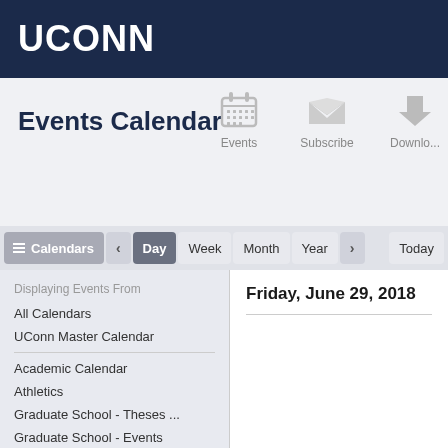UCONN
Events Calendar
Events  Subscribe  Download
Calendars  <  Day  Week  Month  Year  >  Today
Displaying Events From
All Calendars
UConn Master Calendar
Academic Calendar
Athletics
Graduate School - Theses ...
Graduate School - Events
Fraternity and Sorority Life
Rainbow Center
Student Activities
Student Organizations Ma...
SUBOG - Student Union B...
Friday, June 29, 2018